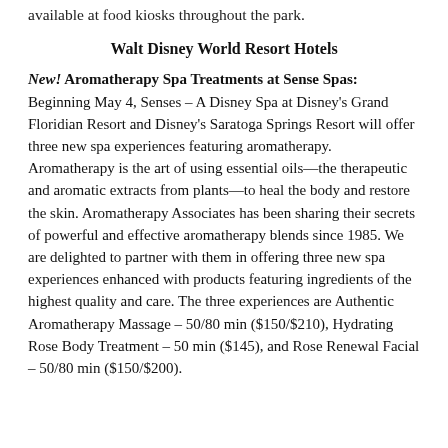available at food kiosks throughout the park.
Walt Disney World Resort Hotels
New! Aromatherapy Spa Treatments at Sense Spas: Beginning May 4, Senses – A Disney Spa at Disney's Grand Floridian Resort and Disney's Saratoga Springs Resort will offer three new spa experiences featuring aromatherapy. Aromatherapy is the art of using essential oils—the therapeutic and aromatic extracts from plants—to heal the body and restore the skin. Aromatherapy Associates has been sharing their secrets of powerful and effective aromatherapy blends since 1985. We are delighted to partner with them in offering three new spa experiences enhanced with products featuring ingredients of the highest quality and care. The three experiences are Authentic Aromatherapy Massage – 50/80 min ($150/$210), Hydrating Rose Body Treatment – 50 min ($145), and Rose Renewal Facial – 50/80 min ($150/$200).